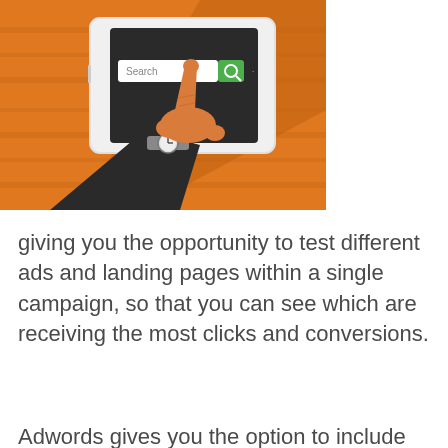[Figure (illustration): Illustration of a hand in a suit sleeve wearing a watch, pressing/tapping a search bar on a tablet device. The tablet shows a search bar with 'Search' text and a green magnifying glass button. The background has an orange wood-grain texture with a diagonal shadow.]
giving you the opportunity to test different ads and landing pages within a single campaign, so that you can see which are receiving the most clicks and conversions.
Adwords gives you the option to include